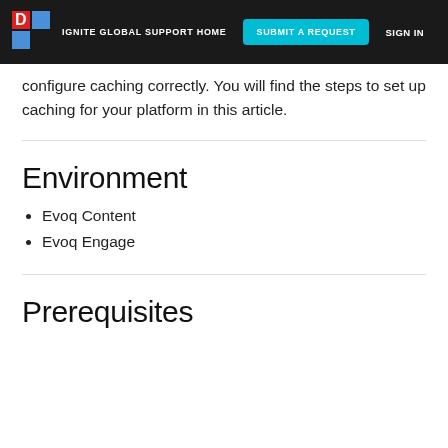IGNITE GLOBAL SUPPORT HOME | SUBMIT A REQUEST | SIGN IN
configure caching correctly. You will find the steps to set up caching for your platform in this article.
Environment
Evoq Content
Evoq Engage
Prerequisites